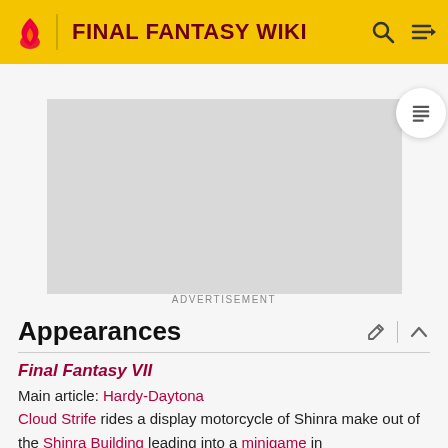FINAL FANTASY WIKI
[Figure (other): Advertisement placeholder (gray rectangle)]
ADVERTISEMENT
Appearances
Final Fantasy VII
Main article: Hardy-Daytona
Cloud Strife rides a display motorcycle of Shinra make out of the Shinra Building leading into a minigame in